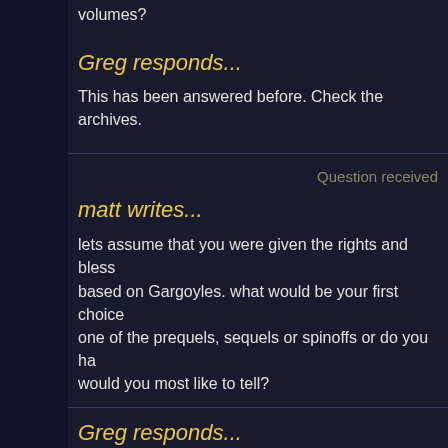volumes?
Greg responds...
This has been answered before. Check the archives.
Question received
matt writes...
lets assume that you were given the rights and bless based on Gargoyles. what would be your first choice one of the prequels, sequels or spinoffs or do you ha would you most like to tell?
Greg responds...
I have so many stories fighting for attention in my hea the hardest things about the comic book. Deciding w
But if the project were a novel, I'm starting to think th Ages"